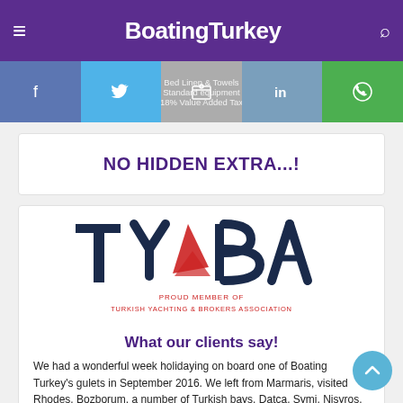BoatingTurkey
[Figure (infographic): Social media sharing bar with Facebook, Twitter, email, LinkedIn, and WhatsApp icons]
Bed Linen & Towels
Standard equipment
18% Value Added Tax
NO HIDDEN EXTRA...!
[Figure (logo): TYBA logo - Turkish Yachting & Brokers Association. Large dark blue letters TYBA with a red sail graphic. Below: PROUD MEMBER OF TURKISH YACHTING & BROKERS ASSOCIATION]
What our clients say!
We had a wonderful week holidaying on board one of Boating Turkey's gulets in September 2016. We left from Marmaris, visited Rhodes, Bozborum, a number of Turkish bays, Datca, Symi, Nisyros, Kos and disembarked at Bodrum. We found Necmi Artar very straightforward and helpful to deal with